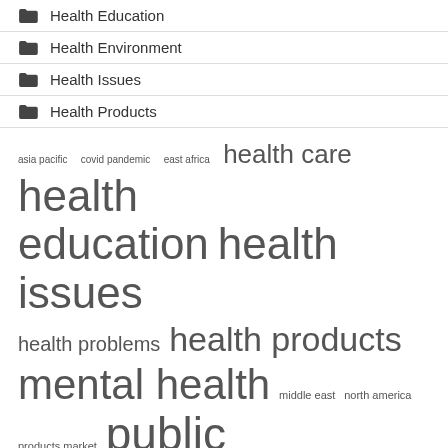Health Education
Health Environment
Health Issues
Health Products
[Figure (infographic): Tag cloud with health-related terms in varying font sizes: asia pacific (small), covid pandemic (small), east africa (small), health care (large), health education (very large), health issues (very large), health problems (medium), health products (large), mental health (very large), middle east (small), north america (small), products market (small), public health (very large), united states (very large), young people (small)]
Recent Posts